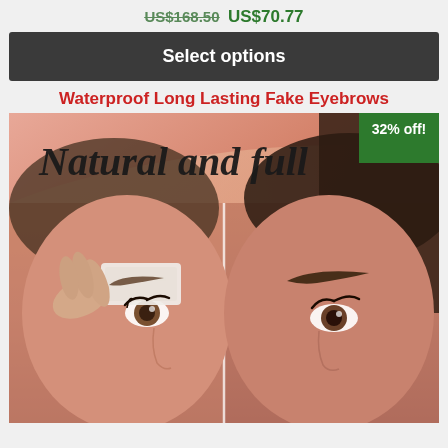US$168.50 US$70.77
Select options
Waterproof Long Lasting Fake Eyebrows
[Figure (photo): Product photo showing a before/after comparison of fake eyebrow application on a woman's face. Left side shows hand applying eyebrow sticker; right side shows finished look with full brows. Text overlay reads 'Natural and full' in script font. A green '32% off!' badge appears in the top right corner.]